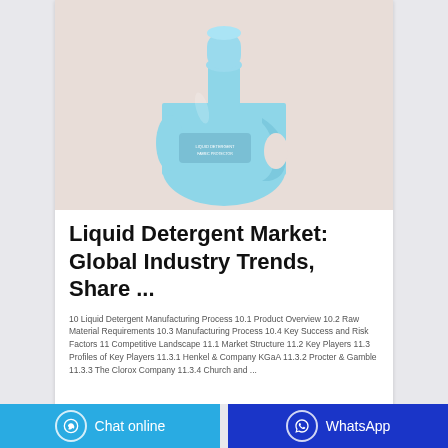[Figure (photo): Blue liquid detergent bottle / jug with cap on a light pinkish-beige background]
Liquid Detergent Market: Global Industry Trends, Share ...
10 Liquid Detergent Manufacturing Process 10.1 Product Overview 10.2 Raw Material Requirements 10.3 Manufacturing Process 10.4 Key Success and Risk Factors 11 Competitive Landscape 11.1 Market Structure 11.2 Key Players 11.3 Profiles of Key Players 11.3.1 Henkel & Company KGaA 11.3.2 Procter & Gamble 11.3.3 The Clorox Company 11.3.4 Church and ...
Chat online | WhatsApp